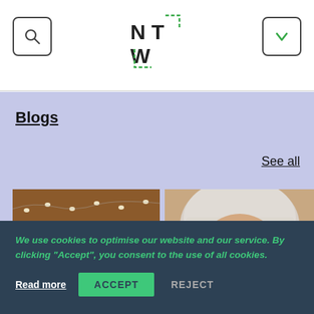[Figure (logo): NTW logo with dashed green bracket lines forming a square around the letters N, T, W]
[Figure (other): Search icon button - magnifying glass in rounded square border]
[Figure (other): Dropdown chevron button - green down arrow in rounded square border]
Blogs
See all
[Figure (photo): Interior party/gathering scene with fairy lights strung across a wooden ceiling beam, people visible in a mirror reflection]
[Figure (photo): Close-up portrait of an older woman with white/blonde hair and purple-framed glasses, looking at the camera]
We use cookies to optimise our website and our service. By clicking "Accept", you consent to the use of all cookies.
Read more
ACCEPT
REJECT